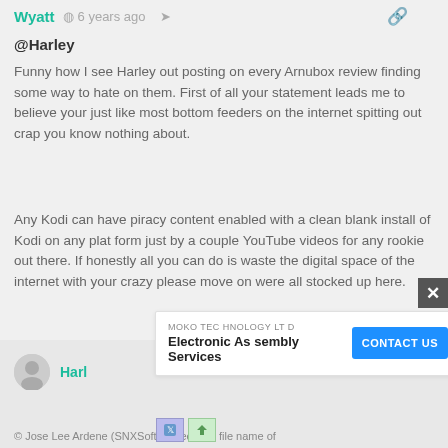Wyatt · 6 years ago
@Harley
Funny how I see Harley out posting on every Arnubox review finding some way to hate on them. First of all your statement leads me to believe your just like most bottom feeders on the internet spitting out crap you know nothing about.
Any Kodi can have piracy content enabled with a clean blank install of Kodi on any plat form just by a couple YouTube videos for any rookie out there. If honestly all you can do is waste the digital space of the internet with your crazy please move on were all stocked up here.
Reply
Harley
[Figure (screenshot): Advertisement overlay: MOKO TECHNOLOGY LTD - Electronic Assembly Services with CONTACT US button]
© Jose Lee Ardene (SNXSoft): Check the file name of